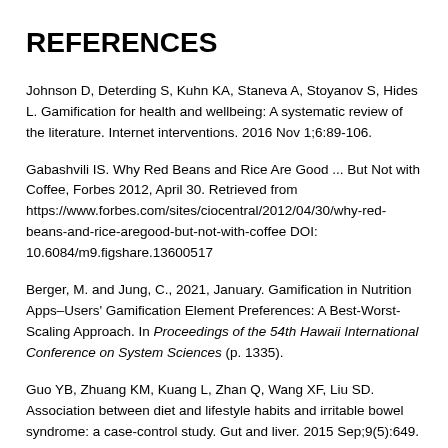REFERENCES
Johnson D, Deterding S, Kuhn KA, Staneva A, Stoyanov S, Hides L. Gamification for health and wellbeing: A systematic review of the literature. Internet interventions. 2016 Nov 1;6:89-106.
Gabashvili IS. Why Red Beans and Rice Are Good ... But Not with Coffee, Forbes 2012, April 30. Retrieved from https://www.forbes.com/sites/ciocentral/2012/04/30/why-red-beans-and-rice-aregood-but-not-with-coffee DOI: 10.6084/m9.figshare.13600517
Berger, M. and Jung, C., 2021, January. Gamification in Nutrition Apps–Users' Gamification Element Preferences: A Best-Worst-Scaling Approach. In Proceedings of the 54th Hawaii International Conference on System Sciences (p. 1335).
Guo YB, Zhuang KM, Kuang L, Zhan Q, Wang XF, Liu SD. Association between diet and lifestyle habits and irritable bowel syndrome: a case-control study. Gut and liver. 2015 Sep;9(5):649.